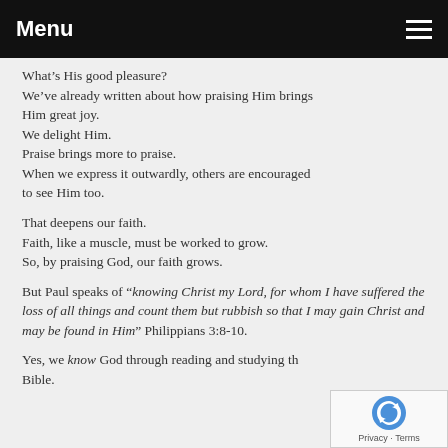Menu
What’s His good pleasure?
We’ve already written about how praising Him brings Him great joy.
We delight Him.
Praise brings more to praise.
When we express it outwardly, others are encouraged to see Him too.
That deepens our faith.
Faith, like a muscle, must be worked to grow.
So, by praising God, our faith grows.
But Paul speaks of “knowing Christ my Lord, for whom I have suffered the loss of all things and count them but rubbish so that I may gain Christ and may be found in Him” Philippians 3:8-10.
Yes, we know God through reading and studying the Bible.